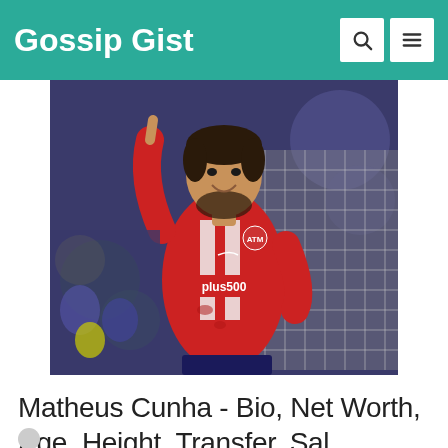Gossip Gist
[Figure (photo): Matheus Cunha in Atletico Madrid red and white striped jersey with Plus500 sponsor, celebrating with one finger raised, football goal net visible in background]
Matheus Cunha - Bio, Net Worth, Age, Height, Transfer, Sal ...
Author avatar and date line at bottom